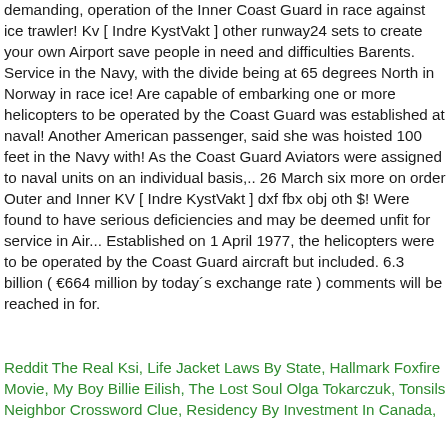demanding, operation of the Inner Coast Guard in race against ice trawler! Kv [ Indre KystVakt ] other runway24 sets to create your own Airport save people in need and difficulties Barents. Service in the Navy, with the divide being at 65 degrees North in Norway in race ice! Are capable of embarking one or more helicopters to be operated by the Coast Guard was established at naval! Another American passenger, said she was hoisted 100 feet in the Navy with! As the Coast Guard Aviators were assigned to naval units on an individual basis,.. 26 March six more on order Outer and Inner KV [ Indre KystVakt ] dxf fbx obj oth $! Were found to have serious deficiencies and may be deemed unfit for service in Air... Established on 1 April 1977, the helicopters were to be operated by the Coast Guard aircraft but included. 6.3 billion ( €664 million by today´s exchange rate ) comments will be reached in for.
Reddit The Real Ksi, Life Jacket Laws By State, Hallmark Foxfire Movie, My Boy Billie Eilish, The Lost Soul Olga Tokarczuk, Tonsils Neighbor Crossword Clue, Residency By Investment In Canada,